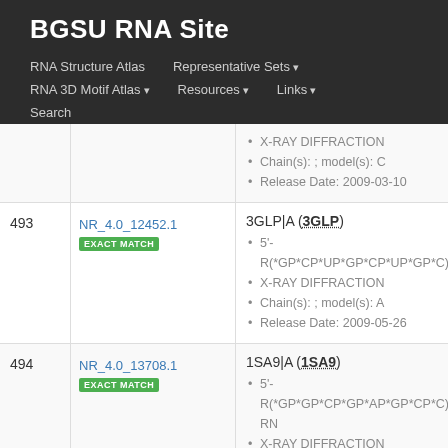BGSU RNA Site
RNA Structure Atlas | Representative Sets | RNA 3D Motif Atlas | Resources | Links | Search
| # | ID | Info |
| --- | --- | --- |
|  |  | X-RAY DIFFRACTION
Chain(s): ; model(s): C
Release Date: 2009-03-10 |
| 493 | NR_4.0_12452.1
EXACT MATCH | 3GLP|A (3GLP)
5'-R(*GP*CP*UP*GP*CP*UP*GP*C)-3'
X-RAY DIFFRACTION
Chain(s): ; model(s): A
Release Date: 2009-05-26 |
| 494 | NR_4.0_13708.1
EXACT MATCH | 1SA9|A (1SA9)
5'-R(*GP*GP*CP*GP*AP*GP*CP*C)-3', RN...
X-RAY DIFFRACTION
Chain(s): ; model(s): A
Release Date: 2004-05-18 |